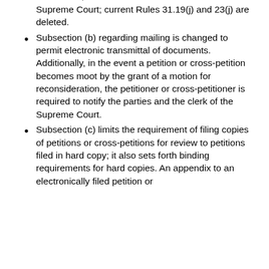to extend the time to file are now in subsection (a) of these rules, and these motions must be filed in the Supreme Court; current Rules 31.19(j) and 23(j) are deleted.
Subsection (b) regarding mailing is changed to permit electronic transmittal of documents. Additionally, in the event a petition or cross-petition becomes moot by the grant of a motion for reconsideration, the petitioner or cross-petitioner is required to notify the parties and the clerk of the Supreme Court.
Subsection (c) limits the requirement of filing copies of petitions or cross-petitions for review to petitions filed in hard copy; it also sets forth binding requirements for hard copies. An appendix to an electronically filed petition or